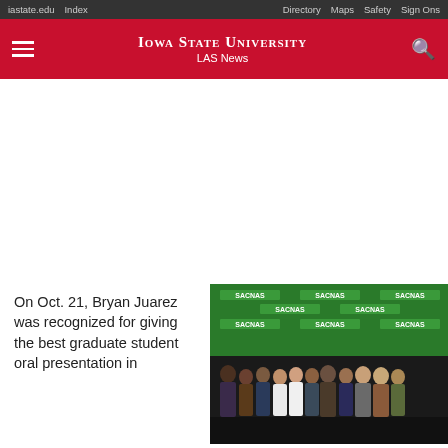iastate.edu   Index   Directory   Maps   Safety   Sign Ons
Iowa State University LAS News
On Oct. 21, Bryan Juarez was recognized for giving the best graduate student oral presentation in
[Figure (photo): Group photo of approximately 10-11 people standing in front of a green SACNAS conference banner backdrop]